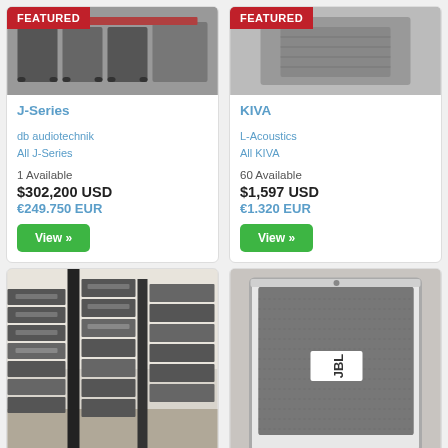[Figure (photo): Product listing card for J-Series by db audiotechnik. Shows a featured badge, product image (audio equipment cases), product title, brand, series, availability, and price.]
[Figure (photo): Product listing card for KIVA by L-Acoustics. Shows a featured badge, product image partial, product title, brand, series, availability, and price.]
[Figure (photo): Bottom left product card showing audio equipment stacked in a storage room (likely J-Series speaker arrays).]
[Figure (photo): Bottom right product card showing a JBL speaker enclosure (white/grey cabinet with grille).]